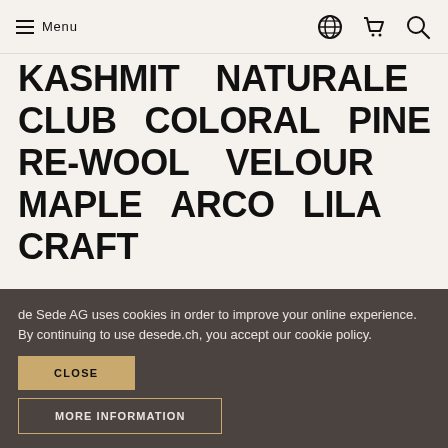Menu
KASHMIT   NATURALE
CLUB   COLORAL   PINE
RE-WOOL   VELOUR
MAPLE   ARCO   LILA
CRAFT
de Sede AG uses cookies in order to improve your online experience. By continuing to use desede.ch, you accept our cookie policy.
CLOSE
MORE INFORMATION